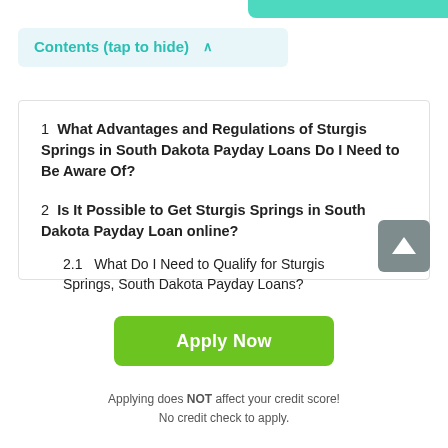Contents (tap to hide) ^
1  What Advantages and Regulations of Sturgis Springs in South Dakota Payday Loans Do I Need to Be Aware Of?
2  Is It Possible to Get Sturgis Springs in South Dakota Payday Loan online?
2.1  What Do I Need to Qualify for Sturgis Springs, South Dakota Payday Loans?
Apply Now
Applying does NOT affect your credit score!
No credit check to apply.